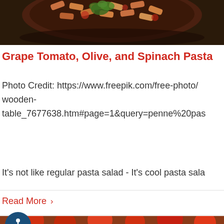[Figure (photo): Photo of penne pasta dish in a dark bowl with parsley garnish, viewed from above on a dark wooden surface]
Grape Tomato, Olive, and Spinach Pasta
Photo Credit: https://www.freepik.com/free-photo/wooden-table_7677638.htm#page=1&query=penne%20pas
It's not like regular pasta salad - It's cool pasta sala
Read More ›
[Figure (photo): Photo of red tomatoes including cherry tomatoes on vine and halved tomatoes on a wooden surface]